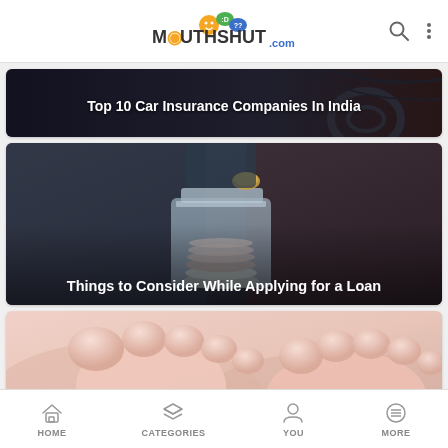MouthShut.com
[Figure (photo): Dark background with car interior, showing a driver. Banner card for 'Top 10 Car Insurance Companies In India'.]
Top 10 Car Insurance Companies In India
[Figure (photo): Person dropping a coin into a glass jar filled with coins. Banner card for 'Things to Consider While Applying for a Loan'.]
Things to Consider While Applying for a Loan
[Figure (photo): Close-up of baby feet resting on adult hands. Partial card visible at bottom.]
HOME   CATEGORIES   YOU   MORE